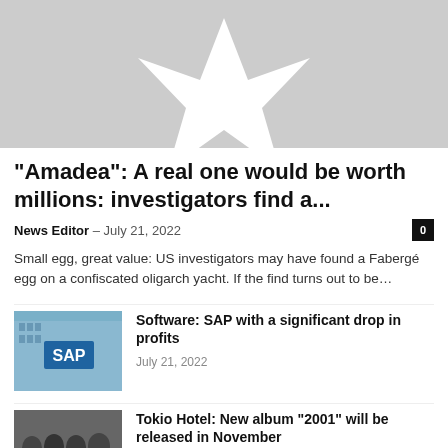[Figure (photo): Hero image placeholder with a grey background and a white star/arrow icon in the center]
“Amadea”: A real one would be worth millions: investigators find a...
News Editor – July 21, 2022
Small egg, great value: US investigators may have found a Faberé egg on a confiscated oligarch yacht. If the find turns out to be…
[Figure (photo): SAP building exterior with SAP logo sign in blue]
Software: SAP with a significant drop in profits
July 21, 2022
[Figure (photo): Photo of Tokio Hotel band members]
Tokio Hotel: New album “2001” will be released in November
July 20, 2022